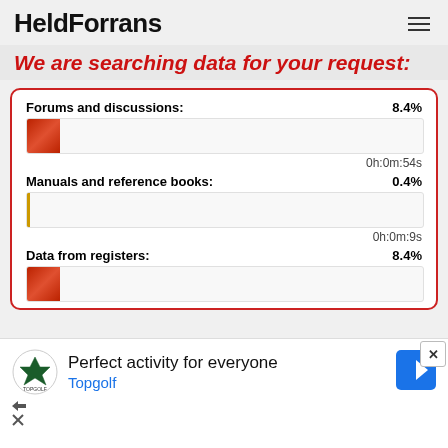HeldForrans
We are searching data for your request:
Forums and discussions: 8.4% 0h:0m:54s
Manuals and reference books: 0.4% 0h:0m:9s
Data from registers: 8.4%
[Figure (screenshot): Advertisement banner for Topgolf with logo and navigation icon. Text: Perfect activity for everyone, Topgolf]